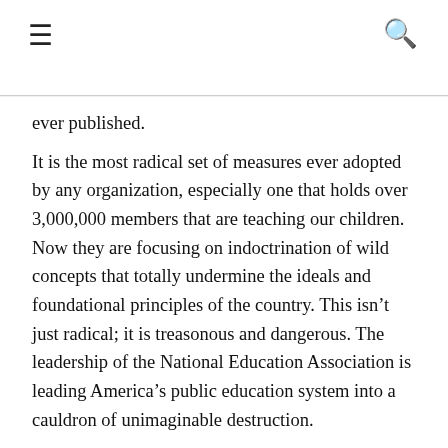≡  🔍
ever published.
It is the most radical set of measures ever adopted by any organization, especially one that holds over 3,000,000 members that are teaching our children. Now they are focusing on indoctrination of wild concepts that totally undermine the ideals and foundational principles of the country. This isn't just radical; it is treasonous and dangerous. The leadership of the National Education Association is leading America's public education system into a cauldron of unimaginable destruction.
Parents are alarmed, as they should be, and many will either overthrow school boards